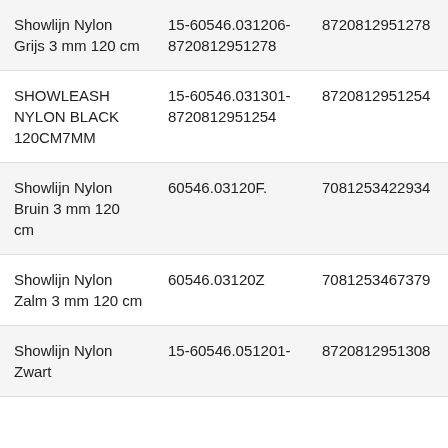| Product | Code | EAN | Action |
| --- | --- | --- | --- |
| Showlijn Nylon Grijs 3 mm 120 cm | 15-60546.031206-8720812951278 | 8720812951278 | Sign in |
| SHOWLEASH NYLON BLACK 120CM7MM | 15-60546.031301-8720812951254 | 8720812951254 | Sign in |
| Showlijn Nylon Bruin 3 mm 120 cm | 60546.03120F. | 7081253422934 | Sign in |
| Showlijn Nylon Zalm 3 mm 120 cm | 60546.03120Z | 7081253467379 | Sign in |
| Showlijn Nylon Zwart ... | 15-60546.051201-... | 8720812951308 | Sign |